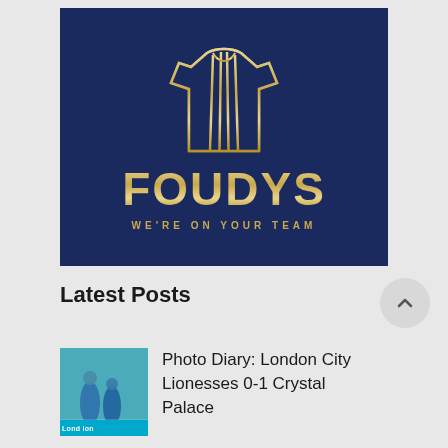[Figure (logo): Foudys logo on dark navy blue background featuring a gold striped football shirt icon above the word FOUDYS in large gold letters and tagline WE'RE ON YOUR TEAM in smaller gold capitals]
Latest Posts
[Figure (photo): Football match photo showing players in blue/teal kits on a pitch with a London advertising board visible]
Photo Diary: London City Lionesses 0-1 Crystal Palace